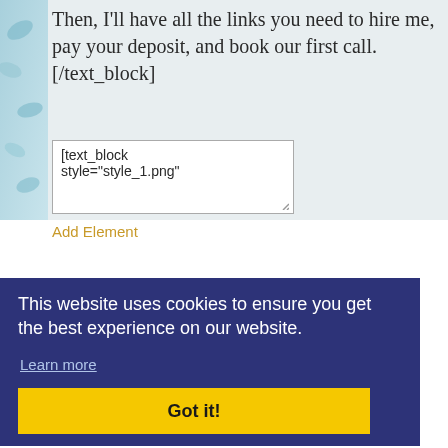Then, I'll have all the links you need to hire me, pay your deposit, and book our first call. [/text_block]
[text_block style="style_1.png"
Add Element
This website uses cookies to ensure you get the best experience on our website.
Learn more
Got it!